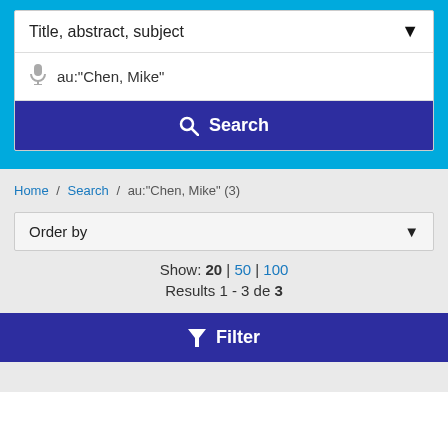[Figure (screenshot): Search interface with blue header background, search field showing 'Title, abstract, subject' dropdown, author search field with au:"Chen, Mike" text and microphone icon, and a dark blue Search button]
Home / Search / au:"Chen, Mike" (3)
Order by
Show: 20 | 50 | 100
Results 1 - 3 de 3
Filter